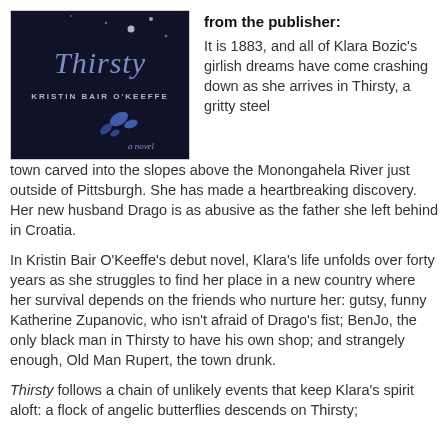[Figure (photo): Book cover of 'Thirsty' by Kristin Bair O'Keeffe — dark navy/black background with stylized cursive title 'Thirsty', author name 'KRISTIN BAIR O'KEEFFE', and text 'a novel', with blue butterfly silhouettes.]
from the publisher: It is 1883, and all of Klara Bozic's girlish dreams have come crashing down as she arrives in Thirsty, a gritty steel town carved into the slopes above the Monongahela River just outside of Pittsburgh. She has made a heartbreaking discovery. Her new husband Drago is as abusive as the father she left behind in Croatia.
In Kristin Bair O'Keeffe's debut novel, Klara's life unfolds over forty years as she struggles to find her place in a new country where her survival depends on the friends who nurture her: gutsy, funny Katherine Zupanovic, who isn't afraid of Drago's fist; BenJo, the only black man in Thirsty to have his own shop; and strangely enough, Old Man Rupert, the town drunk.
Thirsty follows a chain of unlikely events that keep Klara's spirit aloft: a flock of angelic butterflies descends on Thirsty;